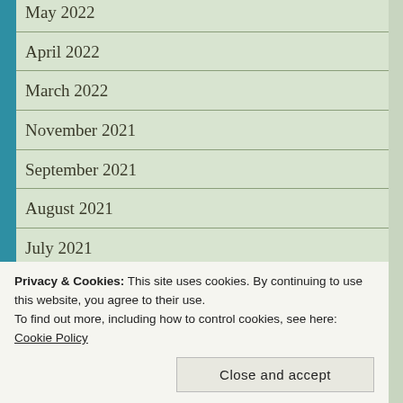May 2022
April 2022
March 2022
November 2021
September 2021
August 2021
July 2021
June 2021
May 2021
April 2021
Privacy & Cookies: This site uses cookies. By continuing to use this website, you agree to their use.
To find out more, including how to control cookies, see here: Cookie Policy
Close and accept